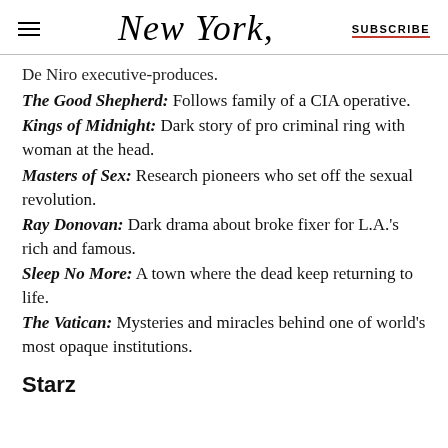New York  SUBSCRIBE
De Niro executive-produces.
The Good Shepherd: Follows family of a CIA operative.
Kings of Midnight: Dark story of pro criminal ring with woman at the head.
Masters of Sex: Research pioneers who set off the sexual revolution.
Ray Donovan: Dark drama about broke fixer for L.A.'s rich and famous.
Sleep No More: A town where the dead keep returning to life.
The Vatican: Mysteries and miracles behind one of world's most opaque institutions.
Starz